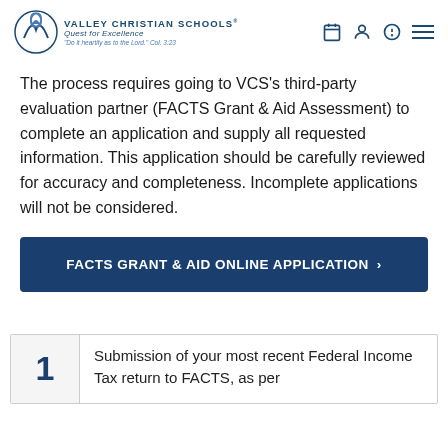Valley Christian Schools Quest for Excellence — "Do it heartily as to the Lord." Col. 3:23
The process requires going to VCS's third-party evaluation partner (FACTS Grant & Aid Assessment) to complete an application and supply all requested information. This application should be carefully reviewed for accuracy and completeness. Incomplete applications will not be considered.
FACTS GRANT & AID ONLINE APPLICATION >
| # | Requirement |
| --- | --- |
| 1 | Submission of your most recent Federal Income Tax return to FACTS, as per |